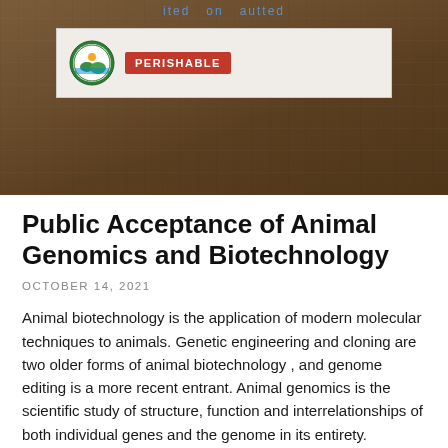[Figure (photo): A cardboard box with a white shipping label showing a USDA-style circular seal and a red 'PERISHABLE' badge. Faint blue text visible at the very top of the label.]
Public Acceptance of Animal Genomics and Biotechnology
OCTOBER 14, 2021
Animal biotechnology is the application of modern molecular techniques to animals. Genetic engineering and cloning are two older forms of animal biotechnology , and genome editing is a more recent entrant. Animal genomics is the scientific study of structure, function and interrelationships of both individual genes and the genome in its entirety. Utilization of genomic information in breeding is often referred to as genomic